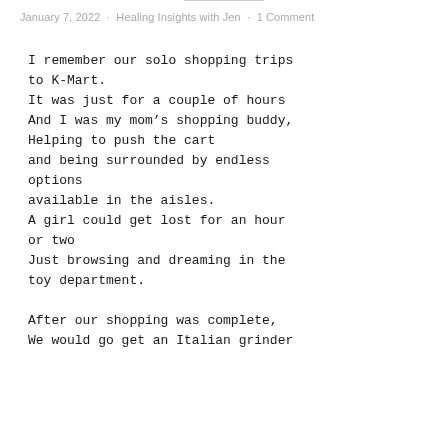January 7, 2022  ·  Healing Insights with Jen  ·  1 Comment
I remember our solo shopping trips to K-Mart.
It was just for a couple of hours
And I was my mom’s shopping buddy,
Helping to push the cart
and being surrounded by endless options
available in the aisles.
A girl could get lost for an hour or two
Just browsing and dreaming in the toy department.

After our shopping was complete,
We would go get an Italian grinder